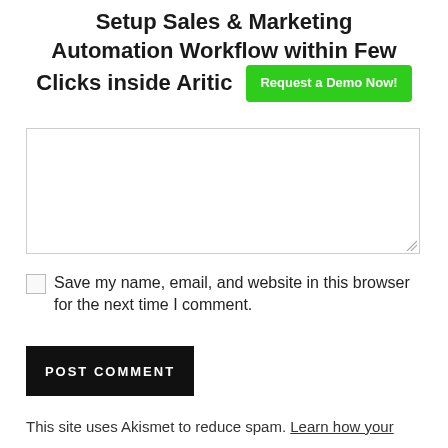Setup Sales & Marketing Automation Workflow within Few Clicks inside Aritic
[Figure (other): Empty textarea/comment input box with resize handle]
Save my name, email, and website in this browser for the next time I comment.
POST COMMENT
This site uses Akismet to reduce spam. Learn how your